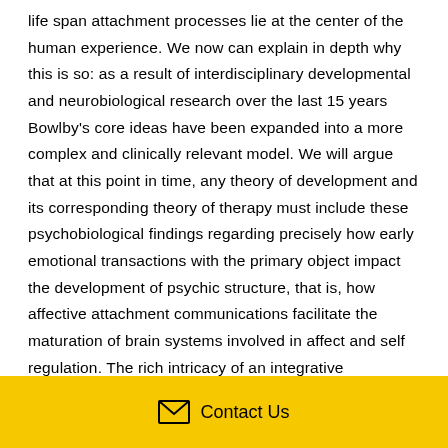life span attachment processes lie at the center of the human experience. We now can explain in depth why this is so: as a result of interdisciplinary developmental and neurobiological research over the last 15 years Bowlby's core ideas have been expanded into a more complex and clinically relevant model. We will argue that at this point in time, any theory of development and its corresponding theory of therapy must include these psychobiological findings regarding precisely how early emotional transactions with the primary object impact the development of psychic structure, that is, how affective attachment communications facilitate the maturation of brain systems involved in affect and self regulation. The rich intricacy of an integrative interdisciplinary theory now
Contact Us